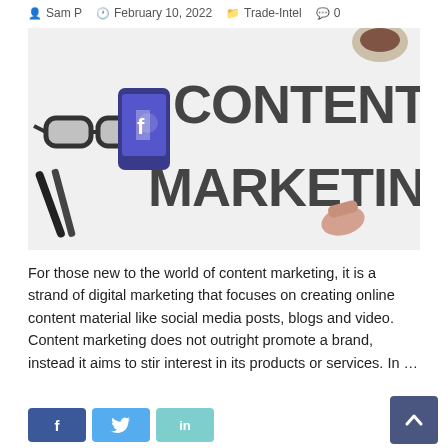Sam P  February 10, 2022  Trade-Intel  0
[Figure (photo): Photo showing 'CONTENT MARKETING' letters on a white surface, with glasses, a phone, pens, and a hand pointing at the letters. A coffee cup is visible in the top corner.]
For those new to the world of content marketing, it is a strand of digital marketing that focuses on creating online content material like social media posts, blogs and video. Content marketing does not outright promote a brand, instead it aims to stir interest in its products or services. In …
Read More »
[Figure (other): Social share buttons: Facebook (f), Twitter (bird), LinkedIn (in)]